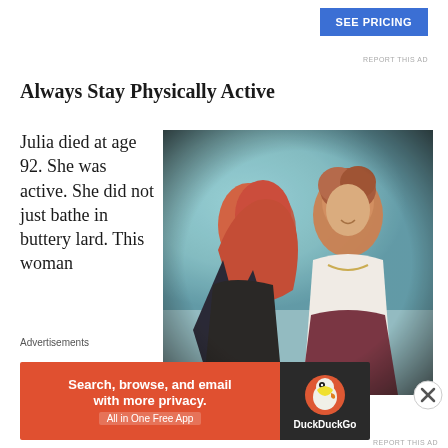[Figure (other): Blue 'SEE PRICING' advertisement button]
REPORT THIS AD
Always Stay Physically Active
Julia died at age 92. She was active. She did not just bathe in buttery lard. This woman
[Figure (photo): Photo of two women - one with red hair facing away, another older woman with short auburn hair smiling, wearing a white top and dark skirt with a necklace]
Advertisements
[Figure (other): DuckDuckGo advertisement banner: Search, browse, and email with more privacy. All in One Free App. DuckDuckGo logo on dark right panel.]